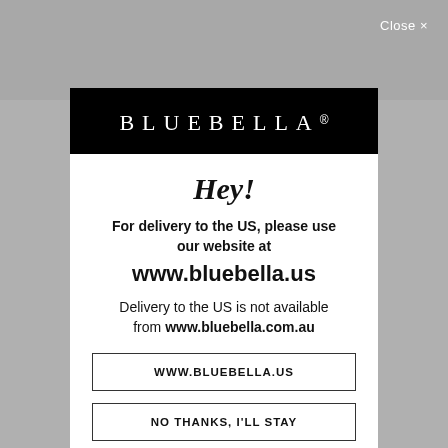[Figure (screenshot): Background showing lingerie product images in grey/taupe tones, dimmed behind the modal overlay]
Close ✕
BLUEBELLA®
Hey!
For delivery to the US, please use our website at
www.bluebella.us
Delivery to the US is not available from www.bluebella.com.au
WWW.BLUEBELLA.US
NO THANKS, I'LL STAY
GIFT WRAP SERVICE
CONTACT US